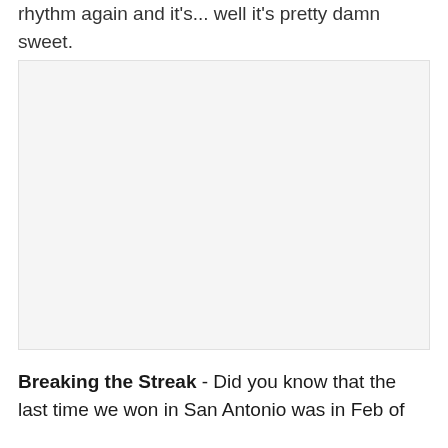rhythm again and it's... well it's pretty damn sweet.
[Figure (photo): Large image placeholder area, light gray background]
Breaking the Streak - Did you know that the last time we won in San Antonio was in Feb of